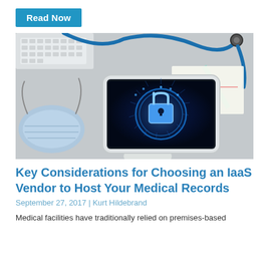Read Now
[Figure (photo): Medical scene with a tablet displaying a glowing blue digital padlock/security icon, surrounded by a stethoscope, keyboard, surgical mask, pencil, and medical papers on a gray surface.]
Key Considerations for Choosing an IaaS Vendor to Host Your Medical Records
September 27, 2017 | Kurt Hildebrand
Medical facilities have traditionally relied on premises-based